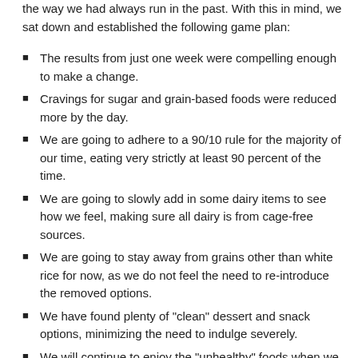the way we had always run in the past. With this in mind, we sat down and established the following game plan:
The results from just one week were compelling enough to make a change.
Cravings for sugar and grain-based foods were reduced more by the day.
We are going to adhere to a 90/10 rule for the majority of our time, eating very strictly at least 90 percent of the time.
We are going to slowly add in some dairy items to see how we feel, making sure all dairy is from cage-free sources.
We are going to stay away from grains other than white rice for now, as we do not feel the need to re-introduce the removed options.
We have found plenty of "clean" dessert and snack options, minimizing the need to indulge severely.
We will continue to enjoy the "unhealthy" foods when we go out to eat with friends and family; we will just minimize the events. We now know how to clean up in the following